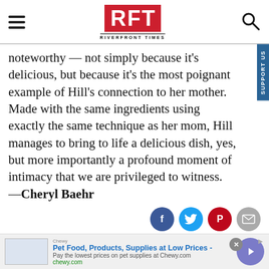RFT RIVERFRONT TIMES
noteworthy — not simply because it's delicious, but because it's the most poignant example of Hill's connection to her mother. Made with the same ingredients using exactly the same technique as her mom, Hill manages to bring to life a delicious dish, yes, but more importantly a profound moment of intimacy that we are privileged to witness. —Cheryl Baehr
[Figure (other): Social sharing icons: Facebook, Twitter, Pinterest, Email]
[Figure (other): Casa de Tres Reyes advertisement banner in yellow]
[Figure (other): Chewy.com ad: Pet Food, Products, Supplies at Low Prices]